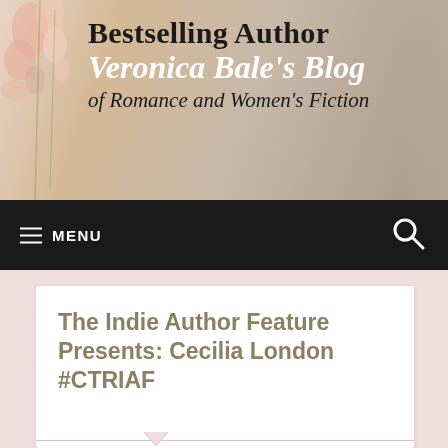Bestselling Author Veronica Bale's Blog of Romance and Women's Fiction
MENU
The Indie Author Feature Presents: Cecilia London #CTRIAF